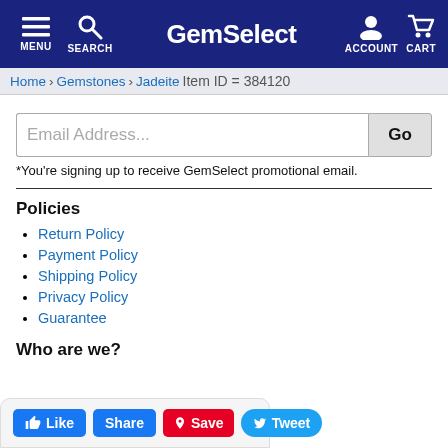GemSelect — MENU SEARCH ACCOUNT CART
Home > Gemstones > Jadeite > Item ID = 384120
Email Address...
*You're signing up to receive GemSelect promotional email.
Policies
Return Policy
Payment Policy
Shipping Policy
Privacy Policy
Guarantee
Who are we?
Like Share Save Tweet